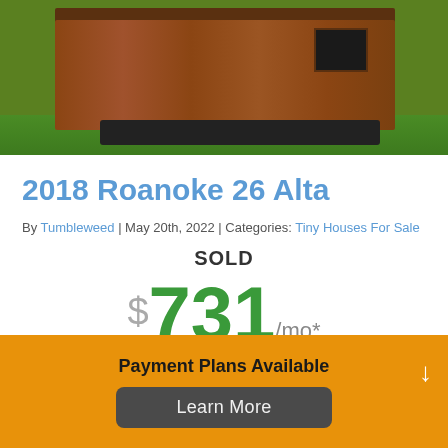[Figure (photo): Photo of a 2018 Roanoke 26 Alta tiny house on wheels, brown wood exterior, sitting on grass in sunlight.]
2018 Roanoke 26 Alta
By Tumbleweed | May 20th, 2022 | Categories: Tiny Houses For Sale
SOLD
$731/mo*
Payment Plans Available
Learn More